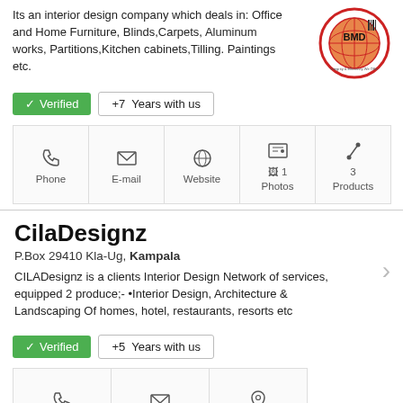Its an interior design company which deals in: Office and Home Furniture, Blinds,Carpets, Aluminum works, Partitions,Kitchen cabinets,Tilling. Paintings etc.
[Figure (logo): BMD company logo - globe with BMD text and tagline Integrity & Efficiency We Offer]
✓ Verified  +7 Years with us
Phone  E-mail  Website  1 Photos  3 Products
CilaDesignz
P.Box 29410 Kla-Ug, Kampala
CILADesignz is a clients Interior Design Network of services, equipped 2 produce;- •Interior Design, Architecture & Landscaping Of homes, hotel, restaurants, resorts etc
✓ Verified  +5 Years with us
Phone  E-mail  Map
K & Wyan Styles Inc